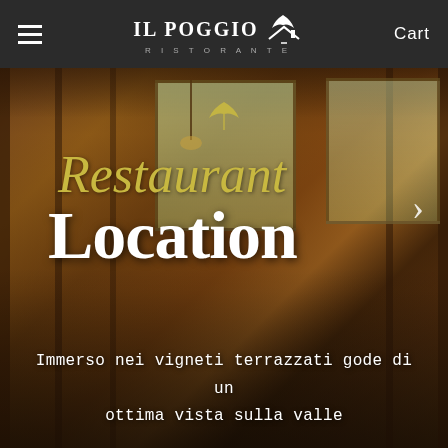IL POGGIO RISTORANTE | Cart
[Figure (photo): Interior of Il Poggio Ristorante showing a warmly lit dining room with wood-paneled walls and ceiling, set tables with wine glasses, and two windows with natural light coming through, with greenery visible outside.]
Restaurant Location
Immerso nei vigneti terrazzati gode di un ottima vista sulla valle